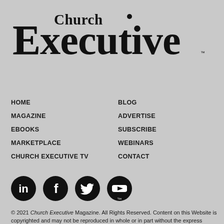[Figure (logo): Church Executive magazine logo in large serif/display typeface]
HOME
BLOG
MAGAZINE
ADVERTISE
EBOOKS
SUBSCRIBE
MARKETPLACE
WEBINARS
CHURCH EXECUTIVE TV
CONTACT
[Figure (illustration): Social media icons: LinkedIn, Facebook, Twitter, YouTube — black circles with white icons]
© 2021 Church Executive Magazine. All Rights Reserved. Content on this Website is copyrighted and may not be reproduced in whole or in part without the express written